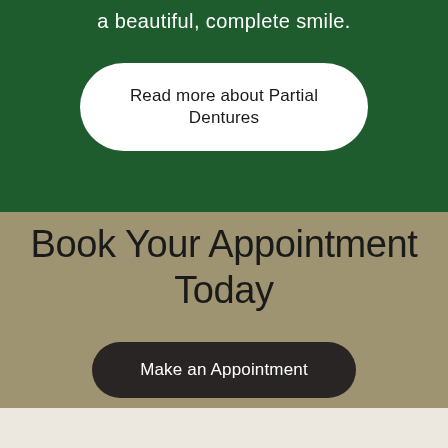a beautiful, complete smile.
Read more about Partial Dentures
Book Your Appointment Today
Make an Appointment